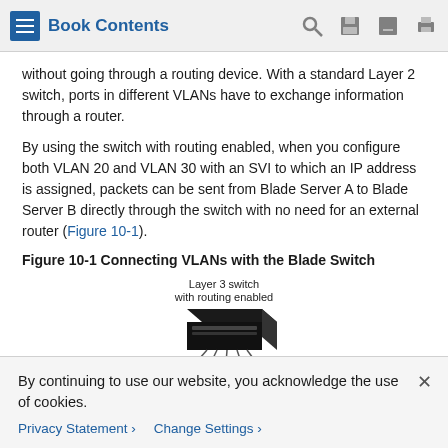Book Contents
without going through a routing device. With a standard Layer 2 switch, ports in different VLANs have to exchange information through a router.
By using the switch with routing enabled, when you configure both VLAN 20 and VLAN 30 with an SVI to which an IP address is assigned, packets can be sent from Blade Server A to Blade Server B directly through the switch with no need for an external router (Figure 10-1).
Figure 10-1 Connecting VLANs with the Blade Switch
[Figure (engineering-diagram): Network diagram showing a Layer 3 switch with routing enabled, connected to multiple ports below. The switch is depicted as a black 3D box with lines going down to represent connections. A rectangular frame surrounds the lower portion.]
By continuing to use our website, you acknowledge the use of cookies.
Privacy Statement > Change Settings >